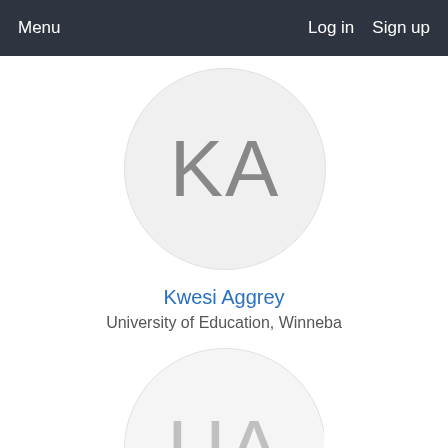Menu    Log in   Sign up
[Figure (illustration): Circular avatar placeholder with initials KA in gray on light gray background]
Kwesi Aggrey
University of Education, Winneba
[Figure (illustration): Circular avatar placeholder with initials UA in light gray on light gray background, partially visible]